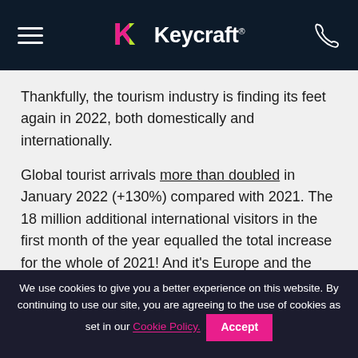Keycraft
Thankfully, the tourism industry is finding its feet again in 2022, both domestically and internationally.
Global tourist arrivals more than doubled in January 2022 (+130%) compared with 2021. The 18 million additional international visitors in the first month of the year equalled the total increase for the whole of 2021! And it’s Europe and the Americas leading the way with
We use cookies to give you a better experience on this website. By continuing to use our site, you are agreeing to the use of cookies as set in our Cookie Policy. Accept